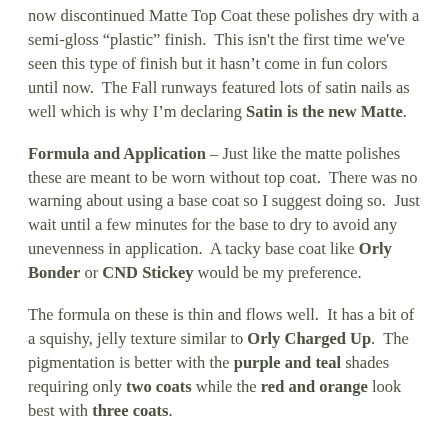now discontinued Matte Top Coat these polishes dry with a semi-gloss “plastic” finish.  This isn't the first time we've seen this type of finish but it hasn’t come in fun colors until now.  The Fall runways featured lots of satin nails as well which is why I’m declaring Satin is the new Matte.
Formula and Application – Just like the matte polishes these are meant to be worn without top coat.  There was no warning about using a base coat so I suggest doing so.  Just wait until a few minutes for the base to dry to avoid any unevenness in application.  A tacky base coat like Orly Bonder or CND Stickey would be my preference.
The formula on these is thin and flows well.  It has a bit of a squishy, jelly texture similar to Orly Charged Up.  The pigmentation is better with the purple and teal shades requiring only two coats while the red and orange look best with three coats.